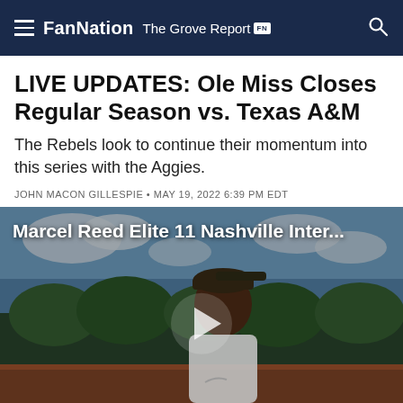FanNation  The Grove Report FN
LIVE UPDATES: Ole Miss Closes Regular Season vs. Texas A&M
The Rebels look to continue their momentum into this series with the Aggies.
JOHN MACON GILLESPIE • MAY 19, 2022 6:39 PM EDT
[Figure (photo): Video thumbnail showing a young football player (Marcel Reed) outdoors at a track/field, with a play button overlay. Video title: Marcel Reed Elite 11 Nashville Inter...]